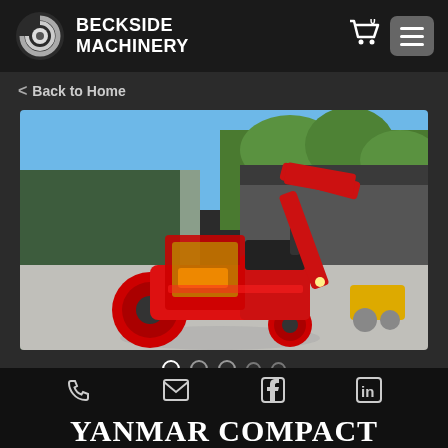BECKSIDE MACHINERY
< Back to Home
[Figure (photo): Red compact tractor with front loader attachment parked on a concrete driveway in front of a green building, with trees and blue sky in background]
[Figure (other): Image carousel navigation dots — 5 dots, first one active/white outlined]
Phone, Email, Facebook, LinkedIn contact icons
YANMAR COMPACT